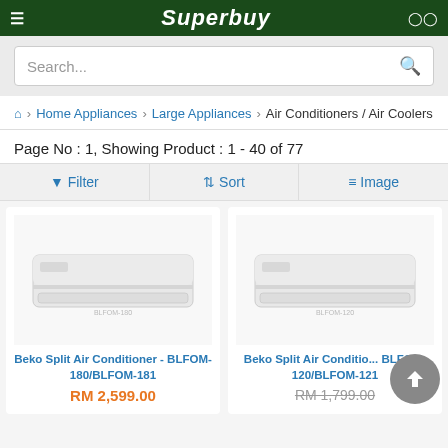Superbuy
Search...
Home Appliances > Large Appliances > Air Conditioners / Air Coolers
Page No : 1, Showing Product : 1 - 40 of 77
Filter  Sort  Image
[Figure (photo): Beko Split Air Conditioner wall-mounted unit product image]
Beko Split Air Conditioner - BLFOM-180/BLFOM-181
RM 2,599.00
[Figure (photo): Beko Split Air Conditioner wall-mounted unit product image]
Beko Split Air Conditio... BLFOM-120/BLFOM-121
RM 1,799.00